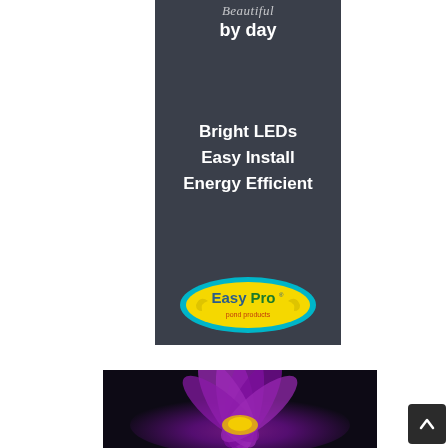[Figure (illustration): EasyPro Pond Products advertisement banner with dark slate background. Top text reads 'Beautiful by day' in script/bold white. Center text lists 'Bright LEDs / Easy Install / Energy Efficient' in bold white. Bottom shows EasyPro pond products yellow oval logo with teal border.]
[Figure (photo): Close-up photograph of a purple water lily flower with yellow stamens against a dark background.]